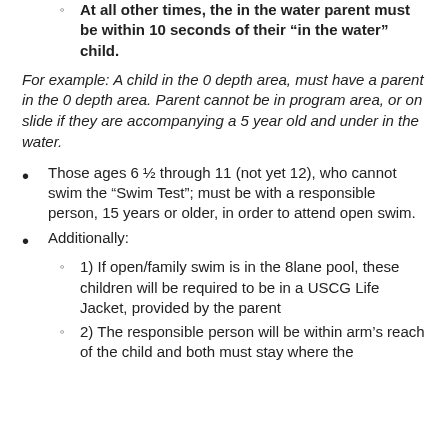At all other times, the in the water parent must be within 10 seconds of their “in the water” child.
For example: A child in the 0 depth area, must have a parent in the 0 depth area. Parent cannot be in program area, or on slide if they are accompanying a 5 year old and under in the water.
Those ages 6 ½ through 11 (not yet 12), who cannot swim the “Swim Test”; must be with a responsible person, 15 years or older, in order to attend open swim.
Additionally:
1) If open/family swim is in the 8lane pool, these children will be required to be in a USCG Life Jacket, provided by the parent
2) The responsible person will be within arm’s reach of the child and both must stay where the